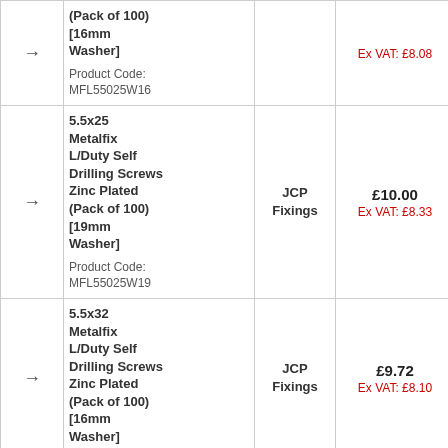|  | Product | Brand | Price | Delivery |  |
| --- | --- | --- | --- | --- | --- |
| → | (Pack of 100) [16mm Washer]
Product Code: MFL55025W16 | JCP Fixings | Ex VAT: £8.08 | 3 Days |  |
| → | 5.5x25 Metalfix L/Duty Self Drilling Screws Zinc Plated (Pack of 100) [19mm Washer]
Product Code: MFL55025W19 | JCP Fixings | £10.00
Ex VAT: £8.33 | 3 Days |  |
| → | 5.5x32 Metalfix L/Duty Self Drilling Screws Zinc Plated (Pack of 100) [16mm Washer] | JCP Fixings | £9.72
Ex VAT: £8.10 | 3 Days |  |